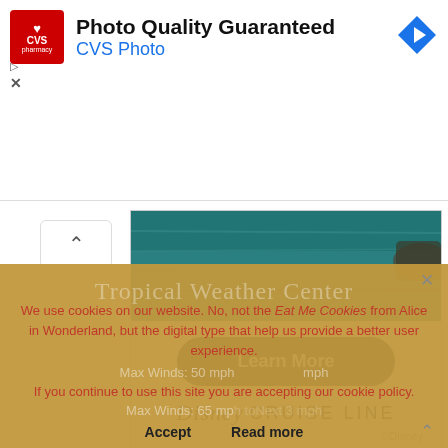[Figure (other): CVS Pharmacy advertisement banner with red logo, text 'Photo Quality Guaranteed' and 'CVS Photo', and a blue navigation arrow icon]
[Figure (other): Disney Cruise Line advertisement showing ocean water aerial photo, a 'Learn More' button on dark navy background, Disney Cruise Line logo, and copyright Disney notice]
We use cookies on our website. No, not the Eat Me Cookies from Alice in Wonderland, but the digital type that help us provide a better user experience.
Tropical Weather Center
Max Winds: 50 mph ... mph
If you continue to use this site you are accepting our cookie policy.
Max Winds: 65 mph to ... Next 3 mph
Accept   Read more